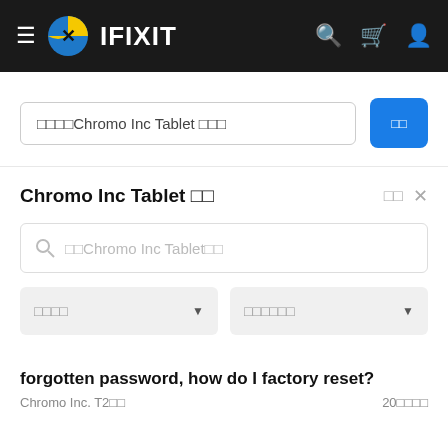[Figure (screenshot): iFixit navigation bar with hamburger menu, iFixit logo, brand name, search icon, cart icon, and user icon on dark background]
에서Chromo Inc Tablet 검색
[Figure (screenshot): Blue search button with Korean text]
Chromo Inc Tablet 검색
[Figure (screenshot): Search input field with placeholder text 에서Chromo Inc Tablet검색]
[Figure (screenshot): Two dropdown filters - 기기별필터 and 가이드별필터]
forgotten password, how do I factory reset?
Chromo Inc. T2에서  20이상의